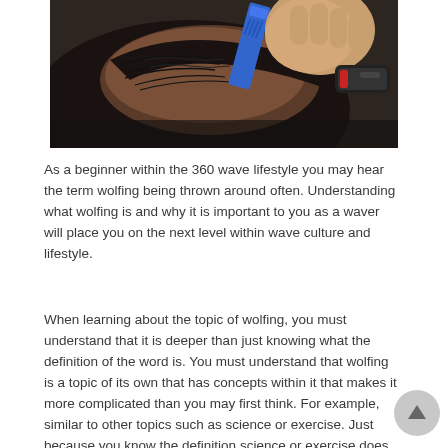[Figure (photo): Close-up photo of a person having their hair combed and cut with clippers, showing a blue comb and electric clippers on short dark hair.]
As a beginner within the 360 wave lifestyle you may hear the term wolfing being thrown around often. Understanding what wolfing is and why it is important to you as a waver will place you on the next level within wave culture and lifestyle.
When learning about the topic of wolfing, you must understand that it is deeper than just knowing what the definition of the word is. You must understand that wolfing is a topic of its own that has concepts within it that makes it more complicated than you may first think. For example, similar to other topics such as science or exercise. Just because you know the definition science or exercise does not mean you fully know and